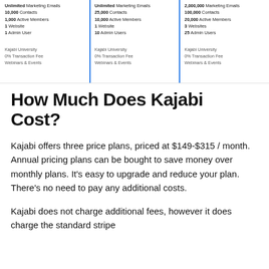| Column 1 | Column 2 | Column 3 |
| --- | --- | --- |
| Unlimited Marketing Emails | Unlimited Marketing Emails | 2,000,000 Marketing Emails |
| 10,000 Contacts | 25,000 Contacts | 100,000 Contacts |
| 1,000 Active Members | 10,000 Active Members | 20,000 Active Members |
| 1 Website | 1 Website | 3 Websites |
| 1 Admin User | 10 Admin Users | 25 Admin Users |
|  |  |  |
| Kajabi University | Kajabi University | Kajabi University |
| 0% Transaction Fee | 0% Transaction Fee | 0% Transaction Fee |
| Webinars & Events | Webinars & Events | Webinars & Events |
How Much Does Kajabi Cost?
Kajabi offers three price plans, priced at $149-$315 / month. Annual pricing plans can be bought to save money over monthly plans. It's easy to upgrade and reduce your plan. There's no need to pay any additional costs.
Kajabi does not charge additional fees, however it does charge the standard stripe